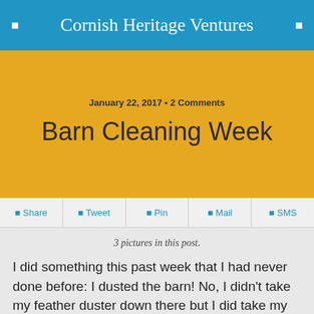Cornish Heritage Ventures
January 22, 2017 • 2 Comments
Barn Cleaning Week
Share  Tweet  Pin  Mail  SMS
3 pictures in this post.
I did something this past week that I had never done before: I dusted the barn! No, I didn't take my feather duster down there but I did take my broom. Why on earth would you dust a barn, you ask? An unused barn, without chickens flapping around, tends to get